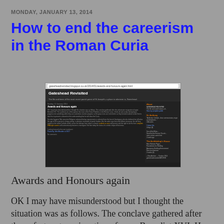MONDAY, JANUARY 13, 2014
How to end the careerism in the Roman Curia
[Figure (screenshot): Screenshot of a blog called 'Gateshead Revisited' showing a blog post titled 'Awards and Honours again' with sidebar content, displayed in a web browser window.]
Awards and Honours again
OK I may have misunderstood but I thought the situation was as follows. The conclave gathered after the unfortunate resignation of pope Benedict XVI. He was the greatest